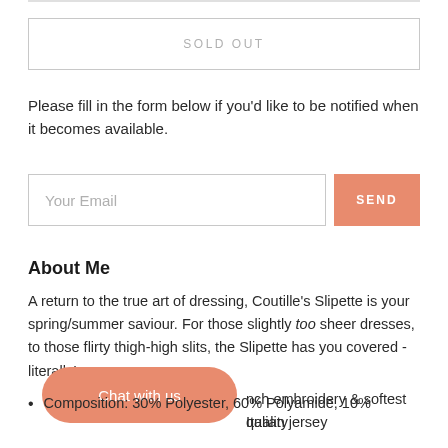SOLD OUT
Please fill in the form below if you'd like to be notified when it becomes available.
Your Email
SEND
About Me
A return to the true art of dressing, Coutille's Slipette is your spring/summer saviour. For those slightly too sheer dresses, to those flirty thigh-high slits, the Slipette has you covered - literally!
Chat with us
nch embroidery & softest Italian jersey
quality
Composition: 30% Polyester, 60% Polyamide, 10%